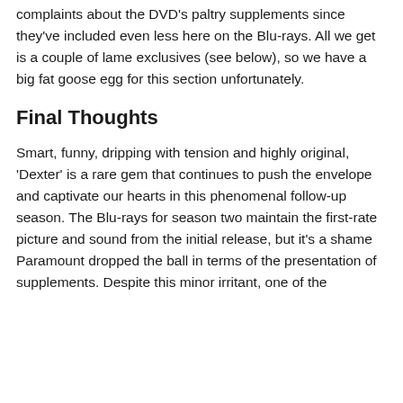Apparently Paramount didn't pay much heed to the complaints about the DVD's paltry supplements since they've included even less here on the Blu-rays. All we get is a couple of lame exclusives (see below), so we have a big fat goose egg for this section unfortunately.
Final Thoughts
Smart, funny, dripping with tension and highly original, 'Dexter' is a rare gem that continues to push the envelope and captivate our hearts in this phenomenal follow-up season. The Blu-rays for season two maintain the first-rate picture and sound from the initial release, but it's a shame Paramount dropped the ball in terms of the presentation of supplements. Despite this minor irritant, one of the